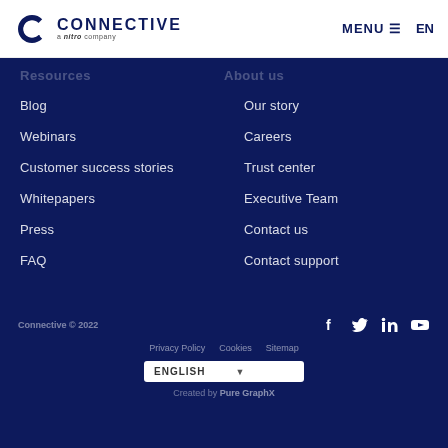Connective - a nitro company | MENU | EN
Resources
About us
Blog
Webinars
Customer success stories
Whitepapers
Press
FAQ
Our story
Careers
Trust center
Executive Team
Contact us
Contact support
Connective © 2022 | Privacy Policy | Cookies | Sitemap | ENGLISH | Created by Pure GraphX